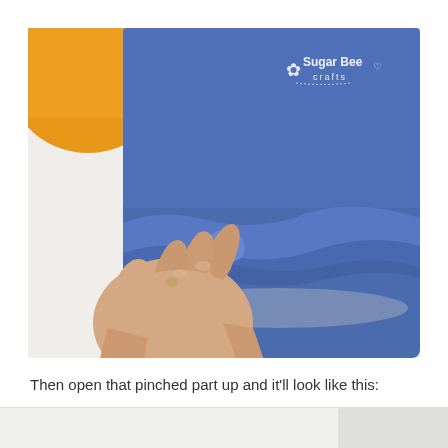[Figure (photo): A hand pinching/opening the hem of blue fabric on a white table surface, with an orange object in the top left corner. The Sugar Bee Crafts logo is in the top right of the photo.]
Then open that pinched part up and it'll look like this: